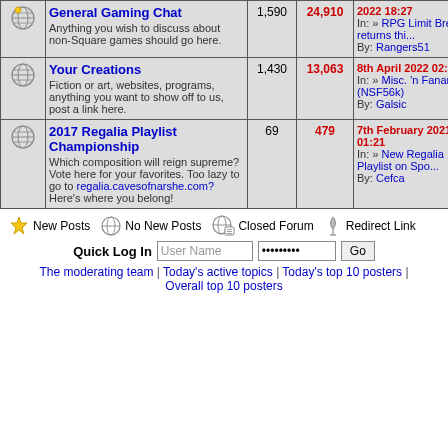|  | Forum | Topics | Posts | Last Post | Moderator |
| --- | --- | --- | --- | --- | --- |
| [icon] | General Gaming Chat
Anything you wish to discuss about non-Square games should go here. | 1,590 | 24,910 | 2022 18:27
In: >> RPG Limit Break returns thi...
By: Rangers51 | Neal |
| [icon] | Your Creations
Fiction or art, websites, programs, anything you want to show off to us, post a link here. | 1,430 | 13,063 | 8th April 2022 02:39
In: >> Misc. 'n Fanart (NSF56k)
By: Galsic | Rangers51
Del S |
| [icon] | 2017 Regalia Playlist Championship
Which composition will reign supreme? Vote here for your favorites. Too lazy to go to regalia.cavesofnarshe.com? Here's where you belong! | 69 | 479 | 7th February 2021 01:21
In: >> New Regalia Playlist on Spo...
By: Cefca | Neal |
New Posts | No New Posts | Closed Forum | Redirect Link
Quick Log In | User Name | ......... | Go
The moderating team | Today's active topics | Today's top 10 posters | Overall top 10 posters